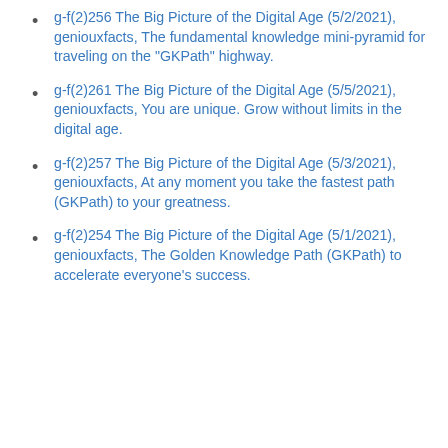g-f(2)256 The Big Picture of the Digital Age (5/2/2021), geniouxfacts, The fundamental knowledge mini-pyramid for traveling on the "GKPath" highway.
g-f(2)261 The Big Picture of the Digital Age (5/5/2021), geniouxfacts, You are unique. Grow without limits in the digital age.
g-f(2)257 The Big Picture of the Digital Age (5/3/2021), geniouxfacts, At any moment you take the fastest path (GKPath) to your greatness.
g-f(2)254 The Big Picture of the Digital Age (5/1/2021), geniouxfacts, The Golden Knowledge Path (GKPath) to accelerate everyone's success.